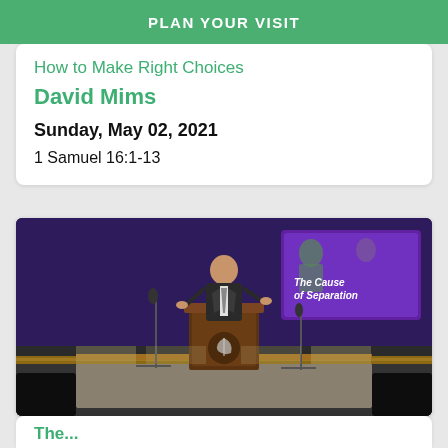PLAN YOUR VISIT
How to Make Right Choices
David Mims
Sunday, May 02, 2021
1 Samuel 16:1-13
[Figure (photo): A pastor or speaker stands at a wooden pulpit/lectern with a church logo on it, gesturing while speaking. Behind him is a purple-lit stage backdrop and a large screen showing the text 'The Cause of Separation'. The church sanctuary stage is visible with audio equipment and pews.]
The...